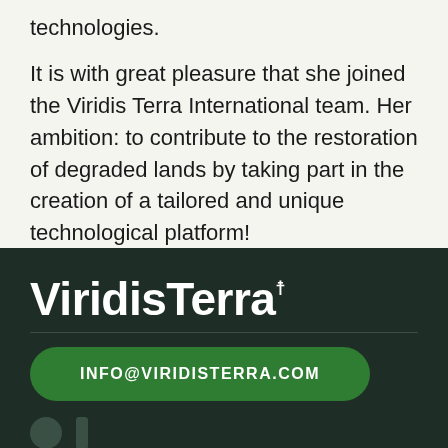technologies.
It is with great pleasure that she joined the Viridis Terra International team. Her ambition: to contribute to the restoration of degraded lands by taking part in the creation of a tailored and unique technological platform!
ViridisTerra®
INFO@VIRIDISTERRA.COM